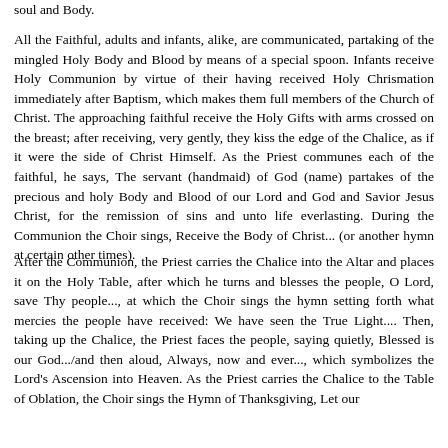soul and Body.
All the Faithful, adults and infants, alike, are communicated, partaking of the mingled Holy Body and Blood by means of a special spoon. Infants receive Holy Communion by virtue of their having received Holy Chrismation immediately after Baptism, which makes them full members of the Church of Christ. The approaching faithful receive the Holy Gifts with arms crossed on the breast; after receiving, very gently, they kiss the edge of the Chalice, as if it were the side of Christ Himself. As the Priest communes each of the faithful, he says, The servant (handmaid) of God (name) partakes of the precious and holy Body and Blood of our Lord and God and Savior Jesus Christ, for the remission of sins and unto life everlasting. During the Communion the Choir sings, Receive the Body of Christ... (or another hymn at certain other times).
After the Communion, the Priest carries the Chalice into the Altar and places it on the Holy Table, after which he turns and blesses the people, O Lord, save Thy people..., at which the Choir sings the hymn setting forth what mercies the people have received: We have seen the True Light.... Then, taking up the Chalice, the Priest faces the people, saying quietly, Blessed is our God.../and then aloud, Always, now and ever..., which symbolizes the Lord's Ascension into Heaven. As the Priest carries the Chalice to the Table of Oblation, the Choir sings the Hymn of Thanksgiving, Let our